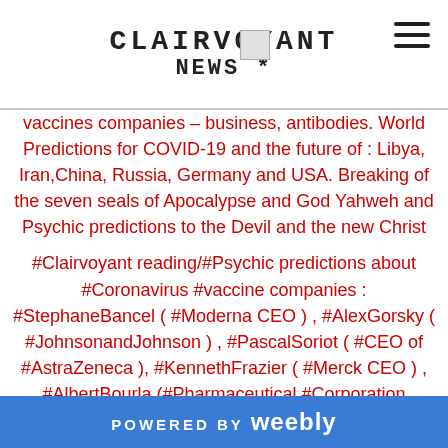CLAIRVOYANT
NEWS
vaccines companies – business, antibodies. World Predictions for COVID-19 and the future of : Libya, Iran,China, Russia, Germany and USA. Breaking of the seven seals of Apocalypse and God Yahweh and Psychic predictions to the Devil and the new Christ

#Clairvoyant reading/#Psychic predictions about #Coronavirus #vaccine companies : #StephaneBancel ( #Moderna CEO ) , #AlexGorsky ( #JohnsonandJohnson ) , #PascalSoriot ( #CEO of #AstraZeneca ), #KennethFrazier ( #Merck CEO ) , #AlbertBourla (#Pharmaceutical #Corporation "#Pfizer") . World #Predictions for #COVID19 and the future of : #Libya (#KhalifaHaftar), #Iran (Hassan Rouhani), #China (#Xinjiping), #Russia (#Vladimir Putin),
POWERED BY weebly